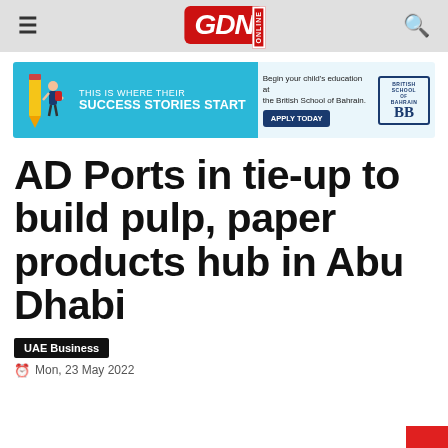GDN ONLINE
[Figure (photo): Advertisement banner for British School of Bahrain. Blue background with child figure, text: THIS IS WHERE THEIR SUCCESS STORIES START. Begin your child's education at the British School of Bahrain. APPLY TODAY. British School Bahrain logo.]
AD Ports in tie-up to build pulp, paper products hub in Abu Dhabi
UAE Business
Mon, 23 May 2022